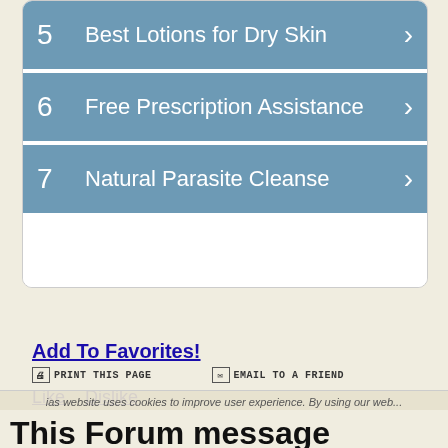5  Best Lotions for Dry Skin
6  Free Prescription Assistance
7  Natural Parasite Cleanse
Add To Favorites!
PRINT THIS PAGE    EMAIL TO A FRIEND
Like   Dislike
DISCLAIMER  this website uses cookies
his website uses cookies to improve user experience. By using our web... you consent to all cookies in accordance with our Cookie Policy.
This Forum message belongs to a larger